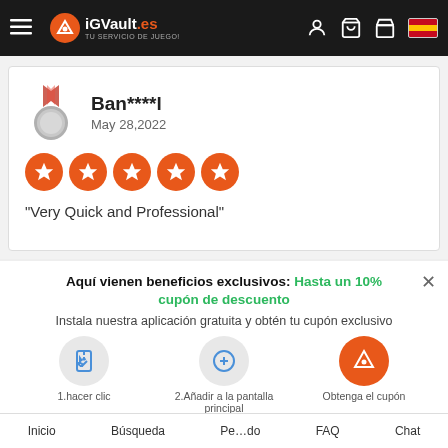iGVault.es - TU SERVICIO DE JUEGO!
Ban****l
May 28,2022
[Figure (other): Five orange star rating circles indicating 5-star review]
"Very Quick and Professional"
Aquí vienen beneficios exclusivos: Hasta un 10% cupón de descuento
Instala nuestra aplicación gratuita y obtén tu cupón exclusivo
1.hacer clic
2.Añadir a la pantalla principal
Obtenga el cupón
Inicio   Búsqueda   Pedido   FAQ   Chat